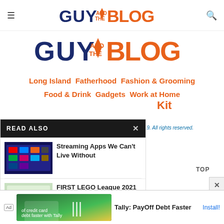GUY and the BLOG
[Figure (logo): GUY and the BLOG logo - large orange and navy text with tie graphic]
Long Island  Fatherhood  Fashion & Grooming  Food & Drink  Gadgets  Work at Home
Kit
19. All rights reserved.
TOP
READ ALSO
[Figure (screenshot): Thumbnail image of streaming apps on TV screen]
Streaming Apps We Can't Live Without
[Figure (photo): Thumbnail image of FIRST LEGO League competition table]
FIRST LEGO League 2021 – 2022...
[Figure (photo): Partially visible thumbnail of third article]
FAMILY
Privacy
Ad  Tally: PayOff Debt Faster  Install!